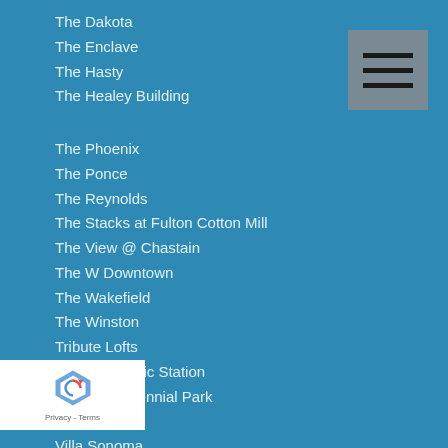The Dakota
The Enclave
The Hasty
The Healey Building
The Phoenix
The Ponce
The Reynolds
The Stacks at Fulton Cotton Mill
The View @ Chastain
The W Downtown
The Wakefield
The Winston
Tribute Lofts
Twelve Atlantic Station
Twelve Centennial Park
Viewpoint
Villa Sonoma
Walden on Lenox
…Oliver Building
…on Peachtree
…kie Street Lofts
…t Commons
100 Twelfth Street